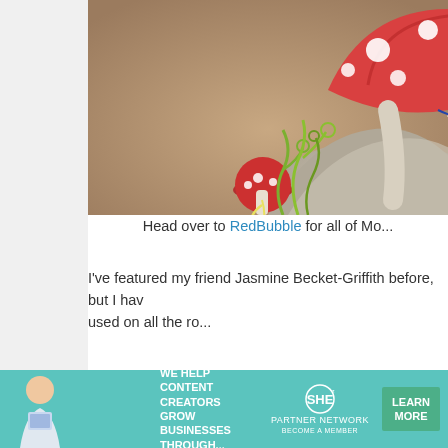[Figure (illustration): Fantasy illustration showing red mushrooms with white spots, green curling vines, and a large smiling mushroom on a rocky surface against a warm brownish background.]
Head over to RedBubble for all of Mo...
I've featured my friend Jasmine Becket-Griffith before, but I hav... used on all the ro...
[Figure (illustration): Fantasy illustration of a blue butterfly against a misty green-grey landscape background.]
[Figure (infographic): SHE Partner Network advertisement banner: We help content creators grow businesses through... Learn More button.]